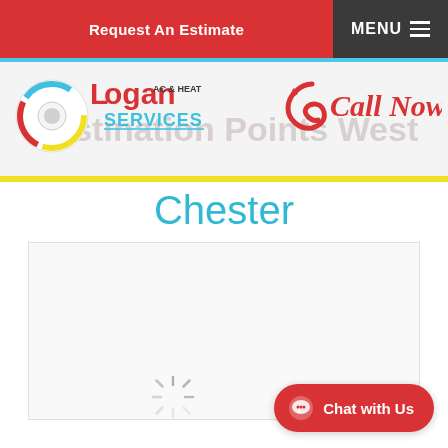Request An Estimate  MENU
[Figure (logo): Logan AC & Heat Services logo with circular icon]
[Figure (other): Call Now! text with phone icon in red cursive]
Destination Points West (faded background text)
Chester
[Figure (other): Loading spinner / map placeholder area]
[Figure (other): Chat with Us button (red rounded pill button)]